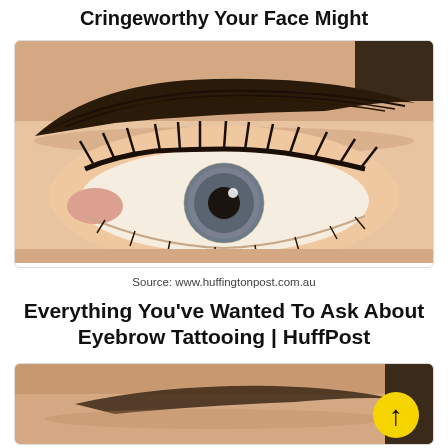Cringeworthy Your Face Might
[Figure (photo): Close-up photo of a woman's eye with prominent styled eyebrow, thick dark eyelashes, and grey-blue iris]
Source: www.huffingtonpost.com.au
Everything You've Wanted To Ask About Eyebrow Tattooing | HuffPost
[Figure (photo): Close-up photo of a woman's face showing eyebrow area, partial view]